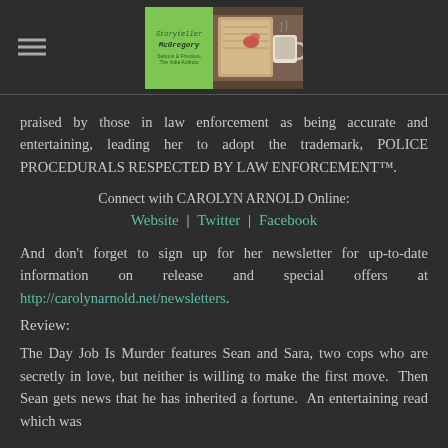[Figure (logo): Storyteller McGregory logo with green box and photo of book/coffee]
praised by those in law enforcement as being accurate and entertaining, leading her to adopt the trademark, POLICE PROCEDURALS RESPECTED BY LAW ENFORCEMENT™.
Connect with CAROLYN ARNOLD Online:
Website | Twitter | Facebook
And don't forget to sign up for her newsletter for up-to-date information on release and special offers at http://carolynarnold.net/newsletters.
Review:
The Day Job Is Murder features Sean and Sara, two cops who are secretly in love, but neither is willing to make the first move.  Then Sean gets news that he has inherited a fortune.  An entertaining read which was